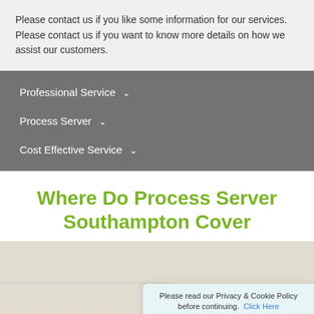Please contact us if you like some information for our services. Please contact us if you want to know more details on how we assist our customers.
Professional Service ∨
Process Server ∨
Cost Effective Service ∨
Where Do Process Server Southampton Cover
[Figure (map): Partial Google Maps screenshot showing Southampton area with a location pin for Moss Bros Men's clothing store, partially obscured by a cookie consent banner.]
Please read our Privacy & Cookie Policy before continuing. Click Here
Decline   Accept